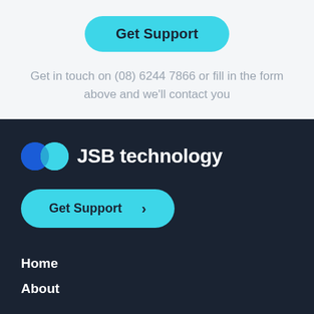Get Support
Get in touch on (08) 6244 7866 or fill in the form above and we'll contact you
[Figure (logo): JSB technology logo with two overlapping circles in blue and cyan, followed by bold white text 'JSB technology']
Get Support >
Home
About